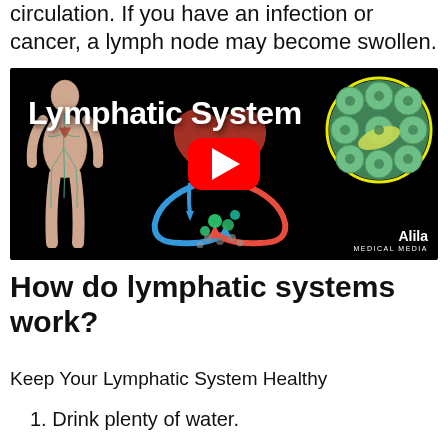circulation. If you have an infection or cancer, a lymph node may become swollen.
[Figure (screenshot): YouTube video thumbnail showing the Lymphatic System with anatomical illustrations, a red YouTube play button in the center, a human body showing lymphatic vessels on the left, a circular cell diagram on the right, and the Alila Medical Media watermark.]
How do lymphatic systems work?
Keep Your Lymphatic System Healthy
1. Drink plenty of water.